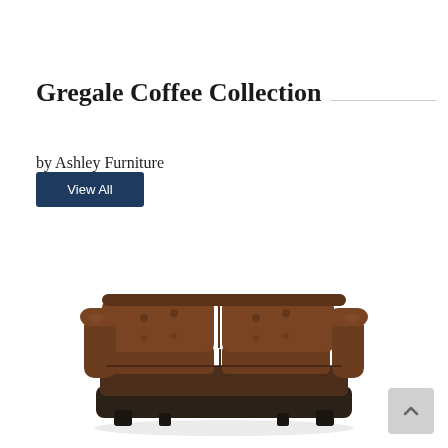Gregale Coffee Collection
by Ashley Furniture
View All
[Figure (photo): Brown leather loveseat/sofa with tufted back cushions and dark espresso-colored base, shown from a slight angle.]